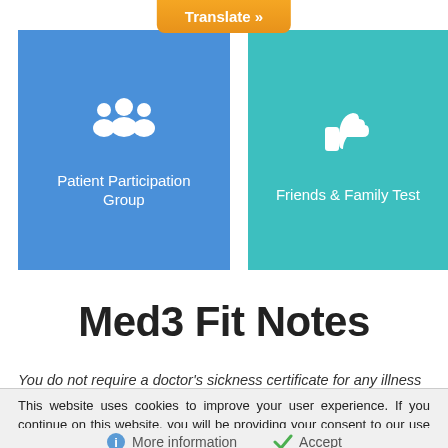[Figure (illustration): Orange 'Translate »' button at top center of page]
[Figure (illustration): Blue card with white group/people icon and label 'Patient Participation Group']
[Figure (illustration): Teal card with white thumbs-up icon and label 'Friends & Family Test']
Med3 Fit Notes
You do not require a doctor's sickness certificate for any illness
This website uses cookies to improve your user experience. If you continue on this website, you will be providing your consent to our use of cookies.
More information
Accept